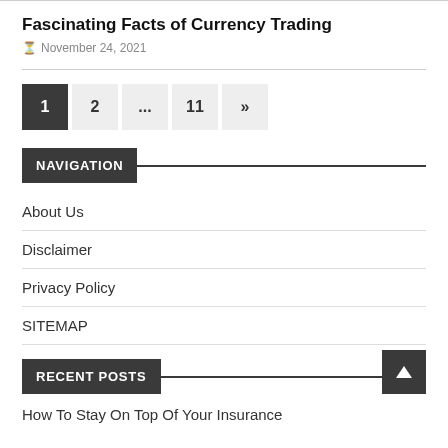Fascinating Facts of Currency Trading
November 24, 2021
1  2  ...  11  »
NAVIGATION
About Us
Disclaimer
Privacy Policy
SITEMAP
RECENT POSTS
How To Stay On Top Of Your Insurance